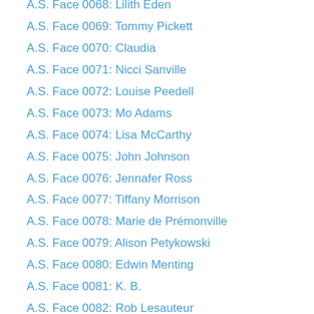A.S. Face 0068: Lilith Eden
A.S. Face 0069: Tommy Pickett
A.S. Face 0070: Claudia
A.S. Face 0071: Nicci Sanville
A.S. Face 0072: Louise Peedell
A.S. Face 0073: Mo Adams
A.S. Face 0074: Lisa McCarthy
A.S. Face 0075: John Johnson
A.S. Face 0076: Jennafer Ross
A.S. Face 0077: Tiffany Morrison
A.S. Face 0078: Marie de Prémonville
A.S. Face 0079: Alison Petykowski
A.S. Face 0080: Edwin Menting
A.S. Face 0081: K. B.
A.S. Face 0082: Rob Lesauteur
A.S. Face 0083: Gilles Hébert
A.S. Face 0084: Krishnanjan Pramanik
A.S. Face 0085: Megan Gammon
A.S. Face 0086: C.
A.S. Face 0087: Melissa Gates